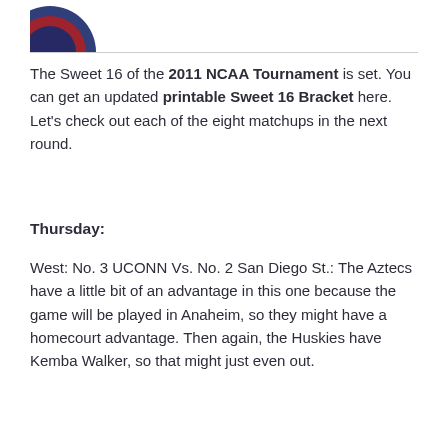[Figure (logo): Partial logo visible at top left corner]
The Sweet 16 of the 2011 NCAA Tournament is set. You can get an updated printable Sweet 16 Bracket here. Let's check out each of the eight matchups in the next round.
Thursday:
West: No. 3 UCONN Vs. No. 2 San Diego St.: The Aztecs have a little bit of an advantage in this one because the game will be played in Anaheim, so they might have a homecourt advantage. Then again, the Huskies have Kemba Walker, so that might just even out.